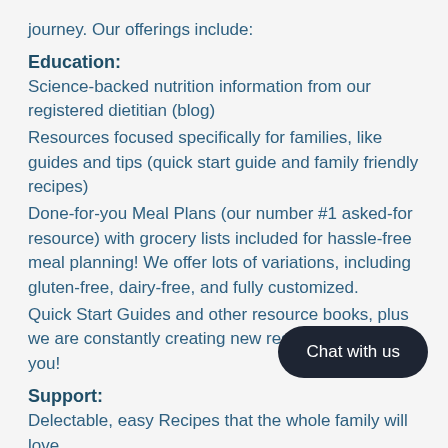journey. Our offerings include:
Education:
Science-backed nutrition information from our registered dietitian (blog)
Resources focused specifically for families, like guides and tips (quick start guide and family friendly recipes)
Done-for-you Meal Plans (our number #1 asked-for resource) with grocery lists included for hassle-free meal planning! We offer lots of variations, including gluten-free, dairy-free, and fully customized.
Quick Start Guides and other resource books, plus we are constantly creating new resources, just for you!
Support:
Delectable, easy Recipes that the whole family will love
Done-for-you Meal Plans that follow the Mediterranean Principles and save you time and money
One on one Nutrition Coaching and access to help you stick to your goals and make healthy changes
Community: